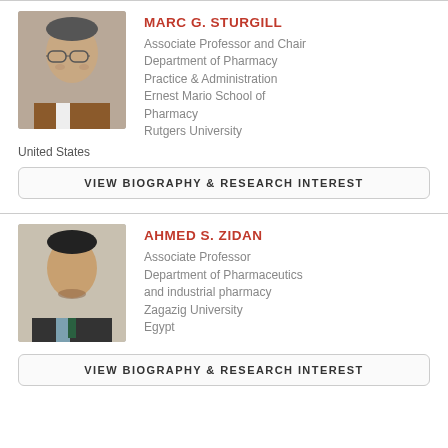[Figure (photo): Headshot photo of Marc G. Sturgill, a man with glasses wearing a brown jacket]
MARC G. STURGILL
Associate Professor and Chair
Department of Pharmacy Practice & Administration
Ernest Mario School of Pharmacy
Rutgers University
United States
VIEW BIOGRAPHY & RESEARCH INTEREST
[Figure (photo): Headshot photo of Ahmed S. Zidan, a man wearing a dark suit with a tie]
AHMED S. ZIDAN
Associate Professor
Department of Pharmaceutics and industrial pharmacy
Zagazig University
Egypt
VIEW BIOGRAPHY & RESEARCH INTEREST